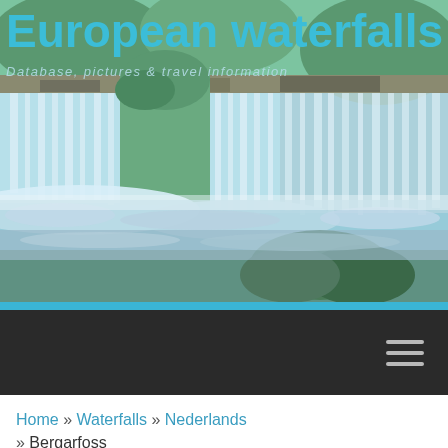[Figure (photo): Waterfall photo with cascading white water over rocky ledges with green vegetation, forming the header background image for the European waterfalls website]
European waterfalls
Database, pictures & travel information
[Figure (other): Dark navigation bar with hamburger menu icon (three horizontal lines) on the right side]
Home » Waterfalls » Nederlands » Bergarfoss